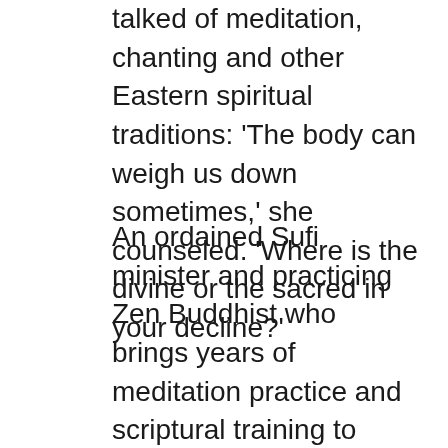talked of meditation, chanting and other Eastern spiritual traditions: ‘The body can weigh us down sometimes,’ she counseled. ‘Where is the divine or the sacred in your decline?’
An ordained Sufi minister and practicing Zen Buddhist who brings years of meditation practice and scriptural training to support end-of-life patients, Laurence is part of a burgeoning generation of Buddhist chaplains who are increasingly common in hospitals, hospices and prisons, where the need for their services rose dramatically during